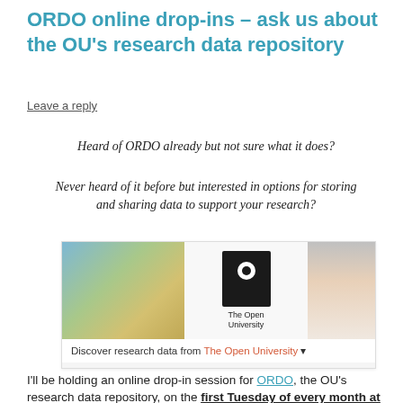ORDO online drop-ins – ask us about the OU's research data repository
Leave a reply
Heard of ORDO already but not sure what it does?
Never heard of it before but interested in options for storing and sharing data to support your research?
[Figure (screenshot): Screenshot of the ORDO research data repository website showing The Open University logo and the text 'Discover research data from The Open University']
I'll be holding an online drop-in session for ORDO, the OU's research data repository, on the first Tuesday of every month at 10:30 to answer any questions you have about